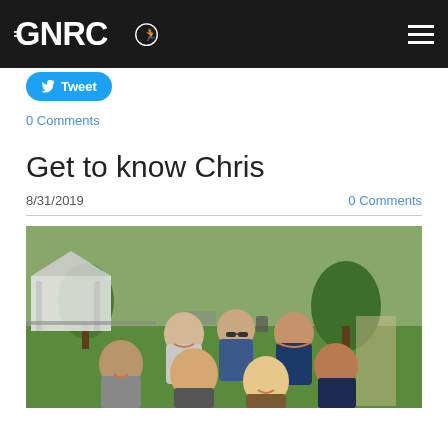GNRC (logo) navigation header
I feel really fortunate to run with the club and have met that people. It makes the runs more enjoyable.
Tweet
0 Comments
Get to know Chris
8/31/2019
0 Comments
[Figure (photo): Group photo of runners posing outdoors in a park setting with green lawn, trees, and a white gazebo in the background. Several men and women smiling at the camera.]